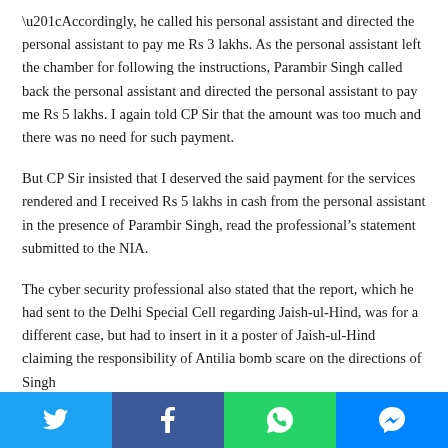“Accordingly, he called his personal assistant and directed the personal assistant to pay me Rs 3 lakhs. As the personal assistant left the chamber for following the instructions, Parambir Singh called back the personal assistant and directed the personal assistant to pay me Rs 5 lakhs. I again told CP Sir that the amount was too much and there was no need for such payment.
But CP Sir insisted that I deserved the said payment for the services rendered and I received Rs 5 lakhs in cash from the personal assistant in the presence of Parambir Singh, read the professional’s statement submitted to the NIA.
The cyber security professional also stated that the report, which he had sent to the Delhi Special Cell regarding Jaish-ul-Hind, was for a different case, but had to insert in it a poster of Jaish-ul-Hind claiming the responsibility of Antilia bomb scare on the directions of Singh
[Figure (infographic): Social sharing bar with Twitter, Facebook, WhatsApp, and Messenger buttons]